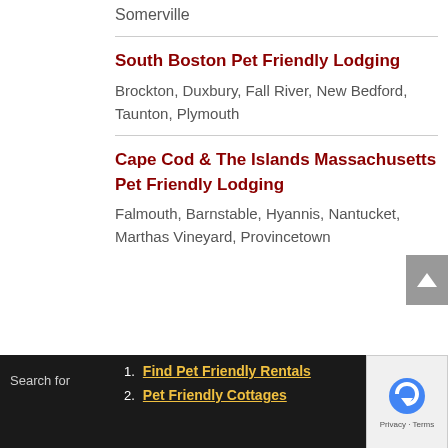Somerville
South Boston Pet Friendly Lodging
Brockton, Duxbury, Fall River, New Bedford, Taunton, Plymouth
Cape Cod & The Islands Massachusetts Pet Friendly Lodging
Falmouth, Barnstable, Hyannis, Nantucket, Marthas Vineyard, Provincetown
Search for
1. Find Pet Friendly Rentals
2. Pet Friendly Cottages